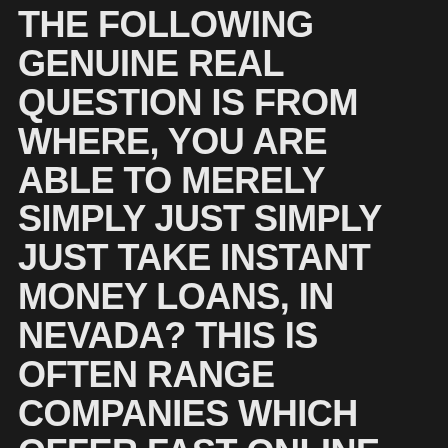THE FOLLOWING GENUINE REAL QUESTION IS FROM WHERE, YOU ARE ABLE TO MERELY SIMPLY JUST SIMPLY JUST TAKE INSTANT MONEY LOANS, IN NEVADA? THIS IS OFTEN RANGE COMPANIES WHICH OFFER FAST ONLINE ADVANCE LOAN:
MIRKO  20 MARZO 2021  NEWS
The second question that is real from where, you can easily simply simply just simply take instant money loans, in Nevada? This is often quantity of businesses which offer fast online advance loan: